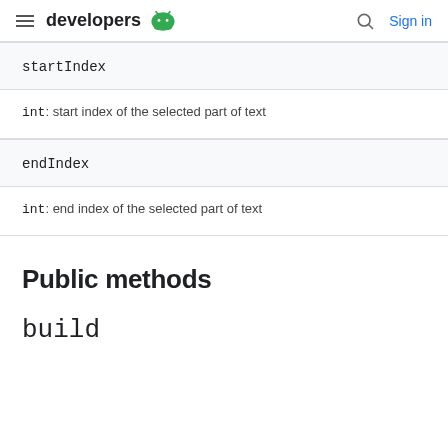developers
startIndex
int: start index of the selected part of text
endIndex
int: end index of the selected part of text
Public methods
build